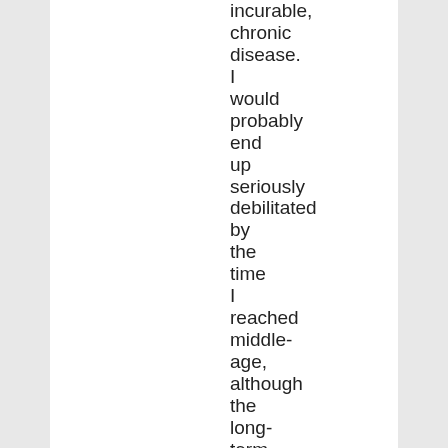incurable, chronic disease. I would probably end up seriously debilitated by the time I reached middle-age, although the long-term symptoms could be slowed